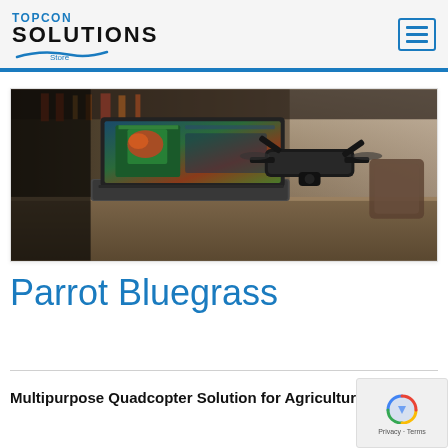TOPCON SOLUTIONS Store
[Figure (photo): A laptop computer displaying colorful agricultural mapping software and a drone (quadcopter) on a workbench/workshop table background.]
Parrot Bluegrass
Multipurpose Quadcopter Solution for Agriculture